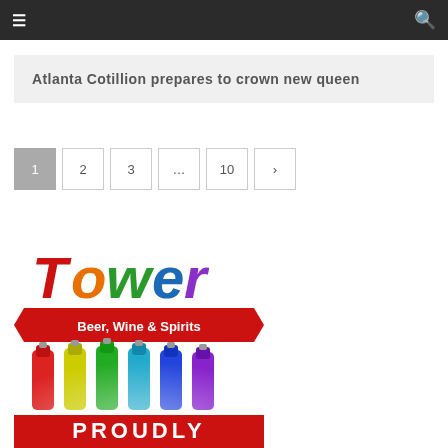≡  🔍
Atlanta Cotillion prepares to crown new queen
1  2  3  ...  10  >
[Figure (logo): Tower Beer, Wine & Spirits logo with colorful bottles and 'PROUDLY' text at bottom]